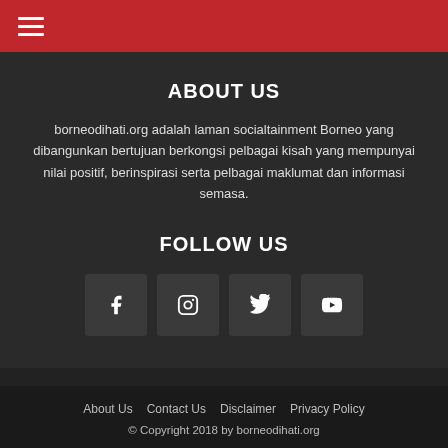Menu (hamburger icon) on red bar
ABOUT US
borneodihati.org adalah laman socialtainment Borneo yang dibangunkan bertujuan berkongsi pelbagai kisah yang mempunyai nilai positif, berinspirasi serta pelbagai maklumat dan informasi semasa.
FOLLOW US
[Figure (infographic): Four social media icon buttons: Facebook (f), Instagram (camera), Twitter (bird), YouTube (play button)]
About Us   Contact Us   Disclaimer   Privacy Policy
© Copyright 2018 by borneodihati.org